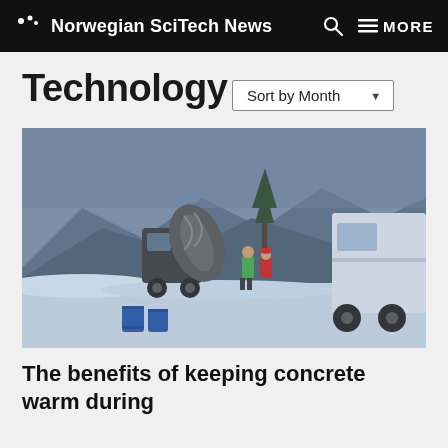Norwegian SciTech News  Q  MORE
Technology
Sort by Month
[Figure (photo): Winter construction scene with concrete mixer truck and workers in a snowy landscape with mountains in the background]
The benefits of keeping concrete warm during